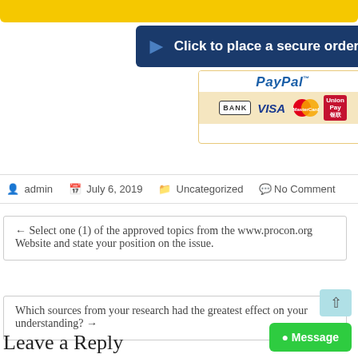[Figure (screenshot): Yellow top bar (partial)]
[Figure (screenshot): Blue 'Click to place a secure order' button with arrow icon]
[Figure (screenshot): PayPal payment options box with BANK, VISA, MasterCard, UnionPay logos]
admin   July 6, 2019   Uncategorized   No Comment
← Select one (1) of the approved topics from the www.procon.org Website and state your position on the issue.
Which sources from your research had the greatest effect on your understanding? →
Leave a Reply
[Figure (screenshot): Green 'Message' chat button in bottom right corner]